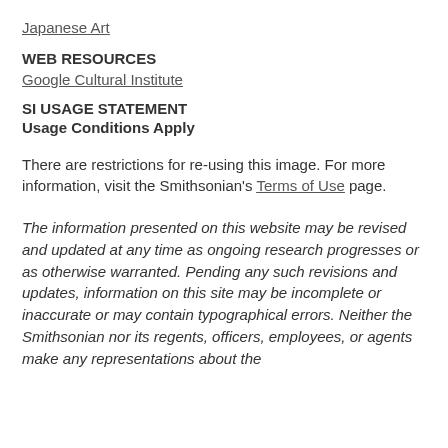Japanese Art
WEB RESOURCES
Google Cultural Institute
SI USAGE STATEMENT
Usage Conditions Apply
There are restrictions for re-using this image. For more information, visit the Smithsonian's Terms of Use page.
The information presented on this website may be revised and updated at any time as ongoing research progresses or as otherwise warranted. Pending any such revisions and updates, information on this site may be incomplete or inaccurate or may contain typographical errors. Neither the Smithsonian nor its regents, officers, employees, or agents make any representations about the